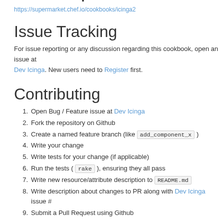Chef Supermarket
https://supermarket.chef.io/cookbooks/icinga2
Issue Tracking
For issue reporting or any discussion regarding this cookbook, open an issue at Dev Icinga. New users need to Register first.
Contributing
1. Open Bug / Feature issue at Dev Icinga
2. Fork the repository on Github
3. Create a named feature branch (like add_component_x )
4. Write your change
5. Write tests for your change (if applicable)
6. Run the tests ( rake ), ensuring they all pass
7. Write new resource/attribute description to README.md
8. Write description about changes to PR along with Dev Icinga issue #
9. Submit a Pull Request using Github
TODO